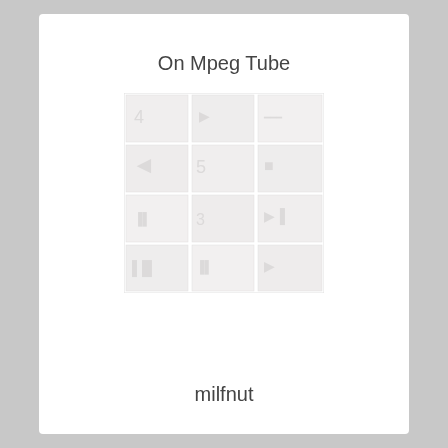On Mpeg Tube
[Figure (photo): A faint, washed-out grid of video thumbnails arranged in a 3x4 or similar grid layout, very low opacity/watermark style]
milfnut